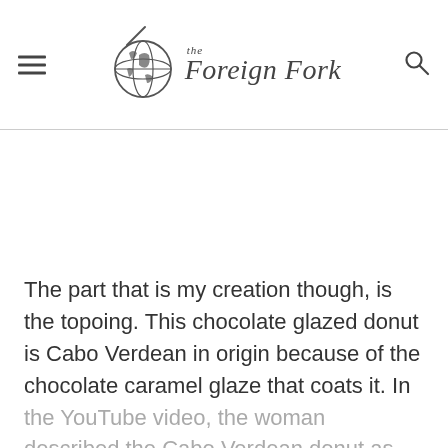The Foreign Fork
The part that is my creation though, is the topoing. This chocolate glazed donut is Cabo Verdean in origin because of the chocolate caramel glaze that coats it. In the YouTube video, the woman described the Cabo Verdean donut as being